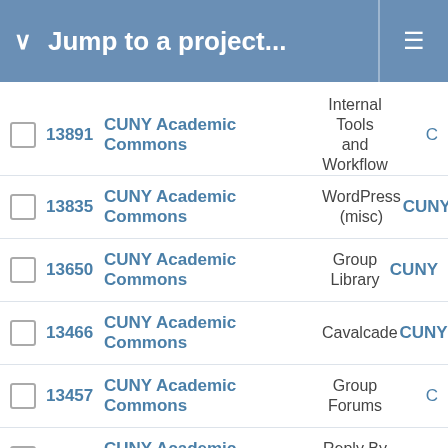Jump to a project...
|  | # | Project | Category | Assignee |
| --- | --- | --- | --- | --- |
| ☐ | 13891 | CUNY Academic Commons | Internal Tools and Workflow | C |
| ☐ | 13835 | CUNY Academic Commons | WordPress (misc) | CUNY |
| ☐ | 13650 | CUNY Academic Commons | Group Library | CUNY |
| ☐ | 13466 | CUNY Academic Commons | Cavalcade | CUNY |
| ☐ | 13457 | CUNY Academic Commons | Group Forums | C |
| ☐ | 13430 | CUNY Academic Commons | Reply By Email | CUN |
| ☐ | 13370 | CUNY Academic Commons | Group Library | CUNY |
| ☐ | 13358 | CUNY Academic Commons | Group Forums | CUNY |